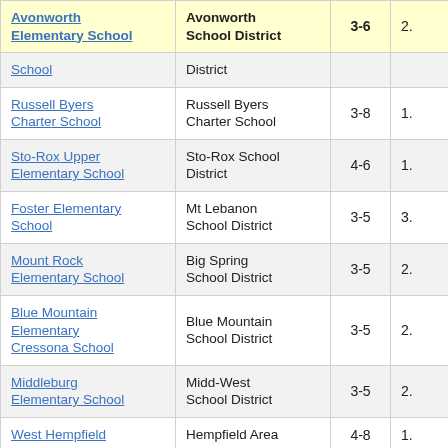| School | District | Grades |  |
| --- | --- | --- | --- |
| Avonworth Elementary School | Avonworth School District | 3-6 | 2. |
| School | District |  |  |
| Russell Byers Charter School | Russell Byers Charter School | 3-8 | 1. |
| Sto-Rox Upper Elementary School | Sto-Rox School District | 4-6 | 1. |
| Foster Elementary School | Mt Lebanon School District | 3-5 | 3. |
| Mount Rock Elementary School | Big Spring School District | 3-5 | 2. |
| Blue Mountain Elementary Cressona School | Blue Mountain School District | 3-5 | 2. |
| Middleburg Elementary School | Midd-West School District | 3-5 | 2. |
| West Hempfield | Hempfield Area | 4-8 | 1. |